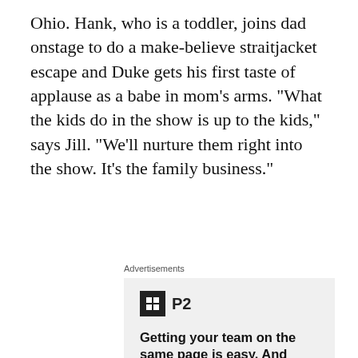Ohio. Hank, who is a toddler, joins dad onstage to do a make-believe straitjacket escape and Duke gets his first taste of applause as a babe in mom’s arms. “What the kids do in the show is up to the kids,” says Jill. “We’ll nurture them right into the show. It’s the family business.”
Advertisements
[Figure (other): Advertisement for P2 product showing logo with black square icon, tagline 'Getting your team on the same page is easy. And free.' with three circular profile photos and a blue plus button.]
The film experience at this year’s Carpel and Film